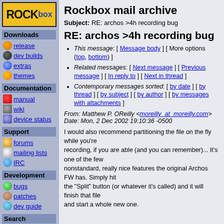[Figure (logo): Rockbox logo — yellow background with black ROCK and blue box text]
Downloads
release
dev builds
extras
themes
Documentation
manual
wiki
device status
Support
forums
mailing lists
IRC
Development
bugs
patches
dev guide
Search
Rockbox mail archive
Subject: RE: archos >4h recording bug
RE: archos >4h recording bug
This message: [ Message body ] [ More options (top, bottom) ]
Related messages: [ Next message ] [ Previous message ] [ In reply to ] [ Next in thread ]
Contemporary messages sorted: [ by date ] [ by thread ] [ by subject ] [ by author ] [ by messages with attachments ]
From: Matthew P. OReilly <moreilly_at_moreilly.com>
Date: Mon, 2 Dec 2002 19:10:36 -0500
I would also recommend partitioning the file on the fly while you're
recording, if you are able (and you can remember)... It's one of the few
nonstandard, really nice features the original Archos FW has. Simply hit
the "Split" button (or whatever it's called) and it will finish that file
and start a whole new one.